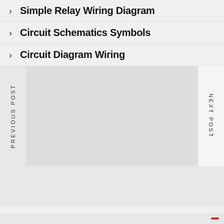Simple Relay Wiring Diagram
Circuit Schematics Symbols
Circuit Diagram Wiring
PREVIOUS POST
NEXT POST